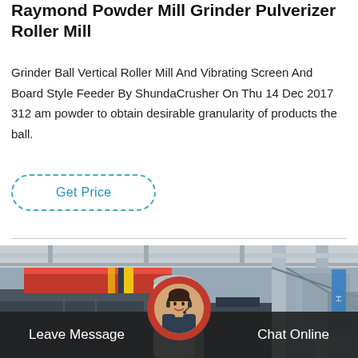Raymond Powder Mill Grinder Pulverizer Roller Mill
Grinder Ball Vertical Roller Mill And Vibrating Screen And Board Style Feeder By ShundaCrusher On Thu 14 Dec 2017 312 am powder to obtain desirable granularity of products the ball.
Get Price
[Figure (photo): Factory interior showing industrial grinding/milling equipment with overhead crane (red), cylindrical vessel, and steel framework structures. A customer service representative avatar (woman with headset) is overlaid at center bottom.]
Leave Message
Chat Online